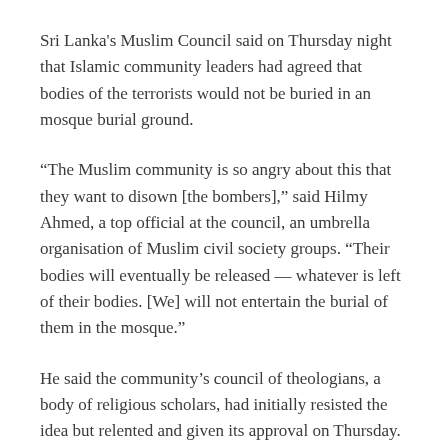Sri Lanka's Muslim Council said on Thursday night that Islamic community leaders had agreed that bodies of the terrorists would not be buried in an mosque burial ground.
“The Muslim community is so angry about this that they want to disown [the bombers],” said Hilmy Ahmed, a top official at the council, an umbrella organisation of Muslim civil society groups. “Their bodies will eventually be released — whatever is left of their bodies. [We] will not entertain the burial of them in the mosque.”
He said the community’s council of theologians, a body of religious scholars, had initially resisted the idea but relented and given its approval on Thursday.
In other developments on Thursday, police officials confirmed that Mohamed Yusuf Ibrahim, a prominent businessman and father of two of the bombers, had been detained in the aftermath